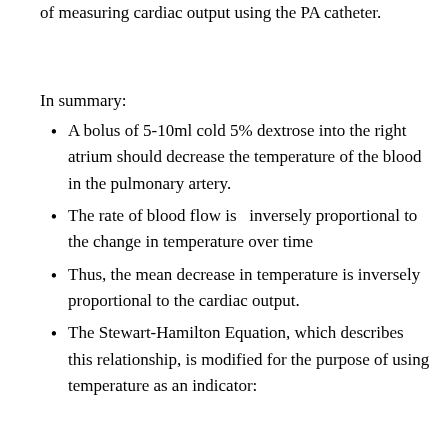of measuring cardiac output using the PA catheter.
In summary:
A bolus of 5-10ml cold 5% dextrose into the right atrium should decrease the temperature of the blood in the pulmonary artery.
The rate of blood flow is  inversely proportional to the change in temperature over time
Thus, the mean decrease in temperature is inversely proportional to the cardiac output.
The Stewart-Hamilton Equation, which describes this relationship, is modified for the purpose of using temperature as an indicator: